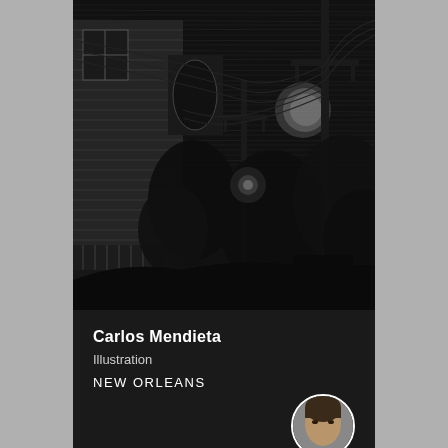[Figure (illustration): Black and white scratchboard or charcoal illustration of a dark New Orleans street scene at night. Features a wooden shotgun house on the left with a window and porch, utility poles with power lines crossing the sky in the center, dense tropical vegetation/trees in the middle and right, a full moon partially obscured by clouds in the upper right, and what appears to be a parked car in the lower right. The sky has dramatic horizontal hatching lines suggesting storm clouds or wind.]
Carlos Mendieta
Illustration
NEW ORLEANS
[Figure (photo): Small circular portrait photo of an artist, partially visible at bottom right of the info panel, showing a person's face in close-up.]